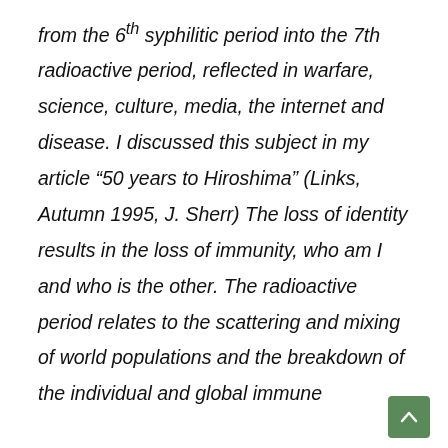from the 6th syphilitic period into the 7th radioactive period, reflected in warfare, science, culture, media, the internet and disease. I discussed this subject in my article “50 years to Hiroshima” (Links, Autumn 1995, J. Sherr) The loss of identity results in the loss of immunity, who am I and who is the other. The radioactive period relates to the scattering and mixing of world populations and the breakdown of the individual and global immune